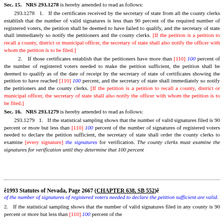Sec. 15. NRS 293.1278 is hereby amended to read as follows: 293.1278 1. If the certificates received by the secretary of state from all the county clerks establish that the number of valid signatures is less than 90 percent of the required number of registered voters, the petition shall be deemed to have failed to qualify, and the secretary of state shall immediately so notify the petitioners and the county clerks. [If the petition is a petition to recall a county, district or municipal officer, the secretary of state shall also notify the officer with whom the petition is to be filed.] 2. If those certificates establish that the petitioners have more than [110] 100 percent of the number of registered voters needed to make the petition sufficient, the petition shall be deemed to qualify as of the date of receipt by the secretary of state of certificates showing the petition to have reached [110] 100 percent, and the secretary of state shall immediately so notify the petitioners and the county clerks. [If the petition is a petition to recall a county, district or municipal officer, the secretary of state shall also notify the officer with whom the petition is to be filed.]
Sec. 16. NRS 293.1279 is hereby amended to read as follows: 293.1279 1. If the statistical sampling shows that the number of valid signatures filed is 90 percent or more but less than [110] 100 percent of the number of signatures of registered voters needed to declare the petition sufficient, the secretary of state shall order the county clerks to examine [every signature] the signatures for verification. The county clerks must examine the signatures for verification until they determine that 100 percent
ê1993 Statutes of Nevada, Page 2667 (CHAPTER 638, SB 552)ê
of the number of signatures of registered voters needed to declare the petition sufficient are valid. 2. If the statistical sampling shows that the number of valid signatures filed in any county is 90 percent or more but less than [110] 100 percent of the